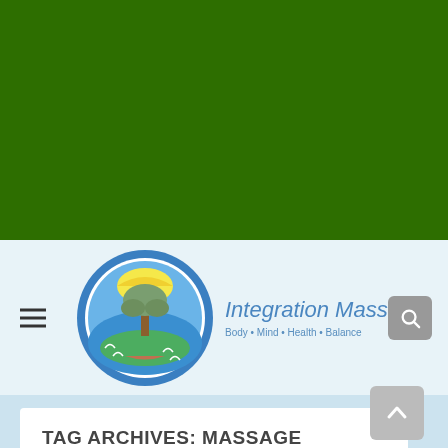[Figure (other): Dark green banner/header background area]
[Figure (logo): Integration Massage circular logo with tree/bird/ocean motif, blue border]
Integration Massage
Body • Mind • Health • Balance
TAG ARCHIVES: MASSAGE CONTRAINDICATION